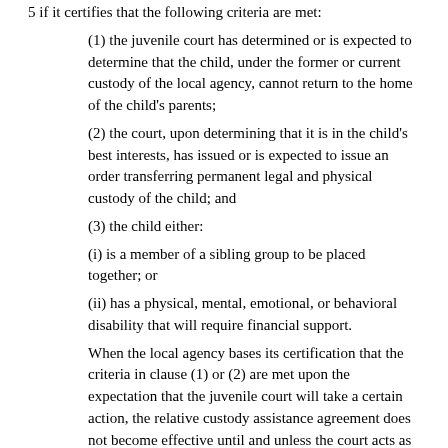5 if it certifies that the following criteria are met:
(1) the juvenile court has determined or is expected to determine that the child, under the former or current custody of the local agency, cannot return to the home of the child's parents;
(2) the court, upon determining that it is in the child's best interests, has issued or is expected to issue an order transferring permanent legal and physical custody of the child; and
(3) the child either:
(i) is a member of a sibling group to be placed together; or
(ii) has a physical, mental, emotional, or behavioral disability that will require financial support.
When the local agency bases its certification that the criteria in clause (1) or (2) are met upon the expectation that the juvenile court will take a certain action, the relative custody assistance agreement does not become effective until and unless the court acts as expected.
Subd. 7. Amount of relative custody assistance